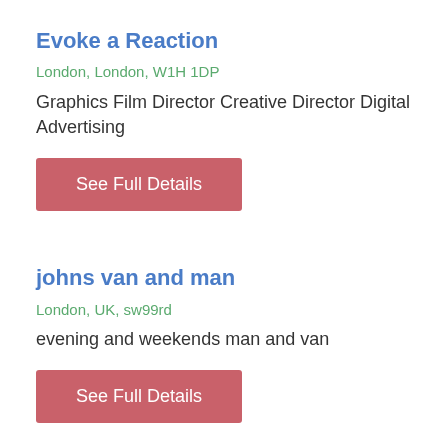Evoke a Reaction
London, London, W1H 1DP
Graphics Film Director Creative Director Digital Advertising
See Full Details
johns van and man
London, UK, sw99rd
evening and weekends man and van
See Full Details